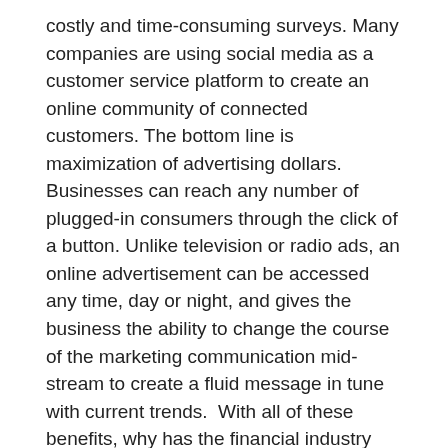costly and time-consuming surveys. Many companies are using social media as a customer service platform to create an online community of connected customers. The bottom line is maximization of advertising dollars. Businesses can reach any number of plugged-in consumers through the click of a button. Unlike television or radio ads, an online advertisement can be accessed any time, day or night, and gives the business the ability to change the course of the marketing communication mid-stream to create a fluid message in tune with current trends.  With all of these benefits, why has the financial industry been so slow to adopt social media?  Blame it on the disconnect between static regulations and innovative technology.
Compliance Issues In Social Media
The rules of compliance haven't directly changed due to